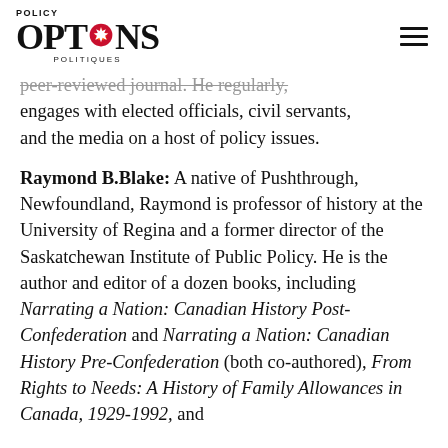Policy Options Politiques
peer-reviewed journal. He regularly, engages with elected officials, civil servants, and the media on a host of policy issues.
Raymond B.Blake: A native of Pushthrough, Newfoundland, Raymond is professor of history at the University of Regina and a former director of the Saskatchewan Institute of Public Policy. He is the author and editor of a dozen books, including Narrating a Nation: Canadian History Post-Confederation and Narrating a Nation: Canadian History Pre-Confederation (both co-authored), From Rights to Needs: A History of Family Allowances in Canada, 1929-1992, and